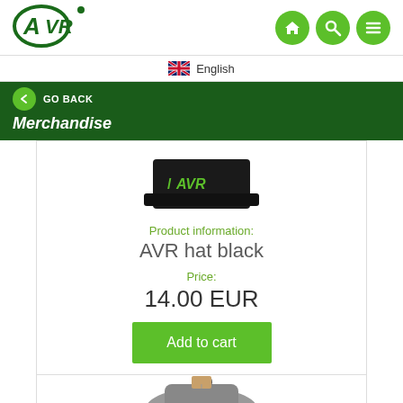[Figure (logo): AVR company logo in dark green]
[Figure (infographic): Navigation icons: home, search, menu on green circles]
English
GO BACK
Merchandise
[Figure (photo): AVR black hat with AVR logo, partially cropped]
Product information:
AVR hat black
Price:
14.00 EUR
Add to cart
[Figure (photo): Gray hat partially visible at bottom of page]